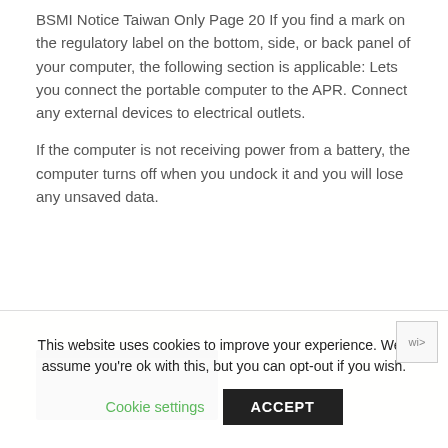BSMI Notice Taiwan Only Page 20 If you find a mark on the regulatory label on the bottom, side, or back panel of your computer, the following section is applicable: Lets you connect the portable computer to the APR. Connect any external devices to electrical outlets.
If the computer is not receiving power from a battery, the computer turns off when you undock it and you will lose any unsaved data.
[Figure (photo): Partial photo of a laptop computer on a light-colored surface, showing the bottom edge of the device.]
This website uses cookies to improve your experience. We'll assume you're ok with this, but you can opt-out if you wish.
Cookie settings   ACCEPT